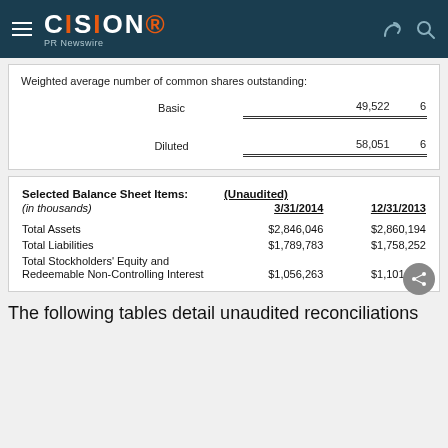CISION PR Newswire
Weighted average number of common shares outstanding:
|  | 3/31/2014 | 12/31/2013 |
| --- | --- | --- |
| Basic | 49,522 | 6 |
| Diluted | 58,051 | 6 |
| Selected Balance Sheet Items: (Unaudited) | 3/31/2014 | 12/31/2013 |
| --- | --- | --- |
| (in thousands) |  |  |
| Total Assets | $2,846,046 | $2,860,194 |
| Total Liabilities | $1,789,783 | $1,758,252 |
| Total Stockholders' Equity and Redeemable Non-Controlling Interest | $1,056,263 | $1,101,942 |
The following tables detail unaudited reconciliations